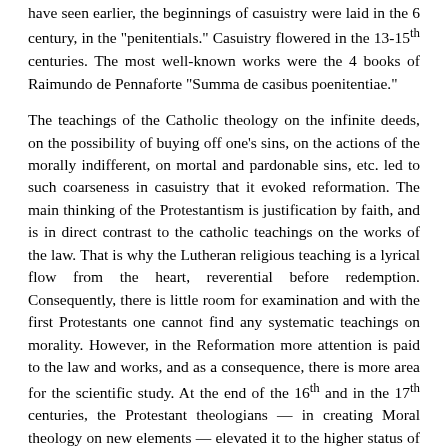have seen earlier, the beginnings of casuistry were laid in the 6 century, in the "penitentials." Casuistry flowered in the 13-15th centuries. The most well-known works were the 4 books of Raimundo de Pennaforte "Summa de casibus poenitentiae."
The teachings of the Catholic theology on the infinite deeds, on the possibility of buying off one’s sins, on the actions of the morally indifferent, on mortal and pardonable sins, etc. led to such coarseness in casuistry that it evoked reformation. The main thinking of the Protestantism is justification by faith, and is in direct contrast to the catholic teachings on the works of the law. That is why the Lutheran religious teaching is a lyrical flow from the heart, reverential before redemption. Consequently, there is little room for examination and with the first Protestants one cannot find any systematic teachings on morality. However, in the Reformation more attention is paid to the law and works, and as a consequence, there is more area for the scientific study. At the end of the 16th and in the 17th centuries, the Protestant theologians — in creating Moral theology on new elements — elevated it to the higher status of a science (Daneus, the Reformation member, and Callistus, a Lutheran). At that time, those that wrote and acted in the Catholic Church were the Jesuits.
However, abstractness and schooling pervaded into the Protestant theology, and it began to adopt the form of a new scholasticism.